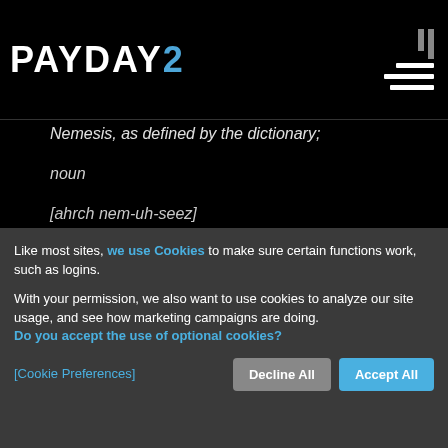[Figure (logo): PAYDAY 2 logo in white bold text with '2' in blue, against black background. Hamburger menu icon on right with vertical bar indicators above it.]
Nemesis, as defined by the dictionary;
noun
[ahrch nem-uh-seez]
Like most sites, we use Cookies to make sure certain functions work, such as logins.

With your permission, we also want to use cookies to analyze our site usage, and see how marketing campaigns are doing.
Do you accept the use of optional cookies?

[Cookie Preferences]    Decline All    Accept All